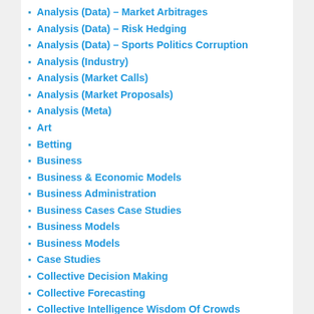Analysis (Data) – Market Arbitrages
Analysis (Data) – Risk Hedging
Analysis (Data) – Sports Politics Corruption
Analysis (Industry)
Analysis (Market Calls)
Analysis (Market Proposals)
Analysis (Meta)
Art
Betting
Business
Business & Economic Models
Business Administration
Business Cases Case Studies
Business Models
Business Models
Case Studies
Collective Decision Making
Collective Forecasting
Collective Intelligence Wisdom Of Crowds
Consulting
Contract Statements
Correction